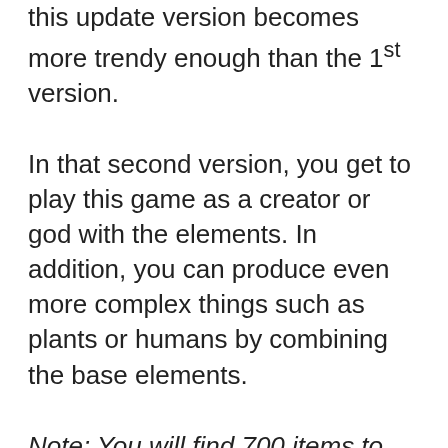this update version becomes more trendy enough than the 1st version.
In that second version, you get to play this game as a creator or god with the elements. In addition, you can produce even more complex things such as plants or humans by combining the base elements.
Note: You will find 700 items to discover in Little Alchemy 2 gameplay.
Most importantly, it allows you to make many things regarding you keep unlocking new elements and making more things you can use later.
The quality interface and enjoyable background music help Little Alchemy 2 reach the next level. The main goal of this game is to create the stuff you're